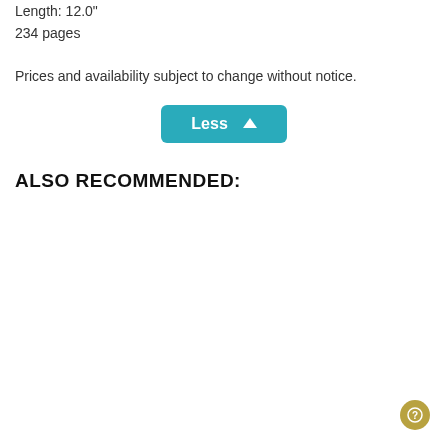Length: 12.0"
234 pages
Prices and availability subject to change without notice.
[Figure (other): Teal 'Less ^' button with caret up arrow]
ALSO RECOMMENDED: